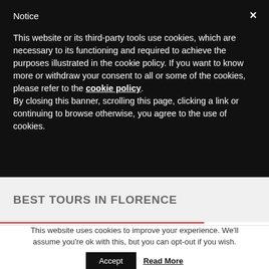Notice
This website or its third-party tools use cookies, which are necessary to its functioning and required to achieve the purposes illustrated in the cookie policy. If you want to know more or withdraw your consent to all or some of the cookies, please refer to the cookie policy.
By closing this banner, scrolling this page, clicking a link or continuing to browse otherwise, you agree to the use of cookies.
BEST TOURS IN FLORENCE
This website uses cookies to improve your experience. We'll assume you're ok with this, but you can opt-out if you wish.
Accept   Read More